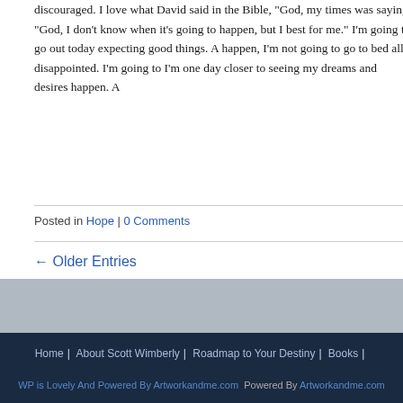discouraged. I love what David said in the Bible, “God, my times was saying, “God, I don’t know when it’s going to happen, but I best for me.” I’m going to go out today expecting good things. A happen, I’m not going to go to bed all disappointed. I’m going to I’m one day closer to seeing my dreams and desires happen. A
Posted in Hope | 0 Comments
← Older Entries
Home | About Scott Wimberly | Roadmap to Your Destiny | Books |
WP is Lovely And Powered By Artworkandme.com